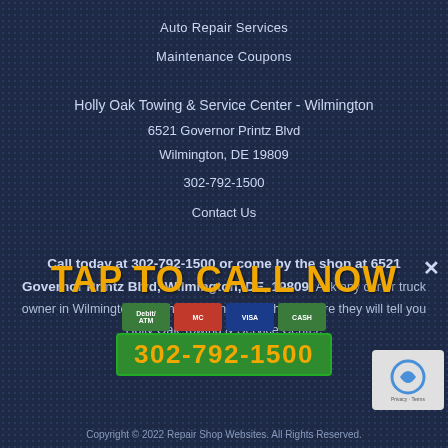Auto Repair Services
Maintenance Coupons
Holly Oak Towing & Service Center - Wilmington
6521 Governor Printz Blvd
Wilmington, DE 19809
302-792-1500
Contact Us
Call today at 302-792-1500 or come by the shop at 6521 Governor Printz Blvd, Wilmington, DE, 19809. Ask any car or truck owner in Wilmington who they recommend. Chances are they will tell you Holly Oak Towing & Service Center.
TAP TO CALL NOW
302-792-1500
Copyright © 2022 Repair Shop Websites. All Rights Reserved.